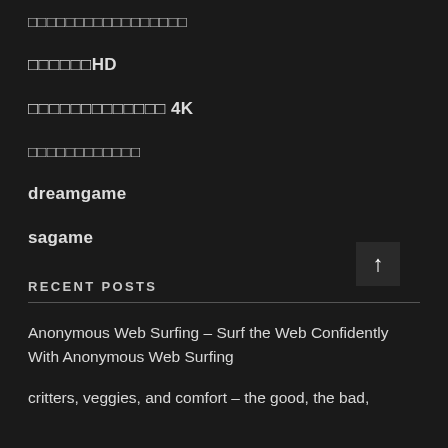□□□□□□□□□□□□□□□□□
□□□□□□HD
□□□□□□□□□□□□□ 4K
□□□□□□□□□□□□
dreamgame
sagame
RECENT POSTS
Anonymous Web Surfing – Surf the Web Confidently With Anonymous Web Surfing
critters, veggies, and comfort – the good, the bad,